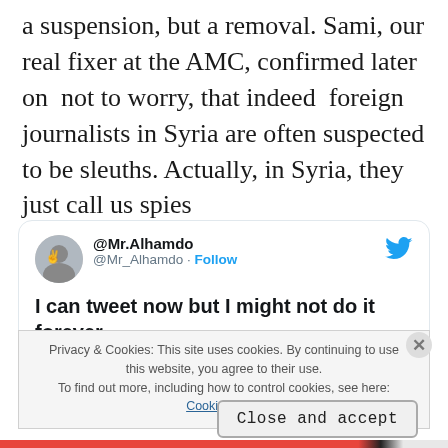a suspension, but a removal. Sami, our real fixer at the AMC, confirmed later on  not to worry, that indeed  foreign journalists in Syria are often suspected to be sleuths. Actually, in Syria, they just call us spies
[Figure (screenshot): Embedded tweet from @Mr.Alhamdo (@Mr_Alhamdo) with Follow link and Twitter bird logo. Tweet text: 'I can tweet now but I might not do it forever.' Overlaid by cookie consent banner.]
Privacy & Cookies: This site uses cookies. By continuing to use this website, you agree to their use.
To find out more, including how to control cookies, see here:
Cookie Policy
Close and accept